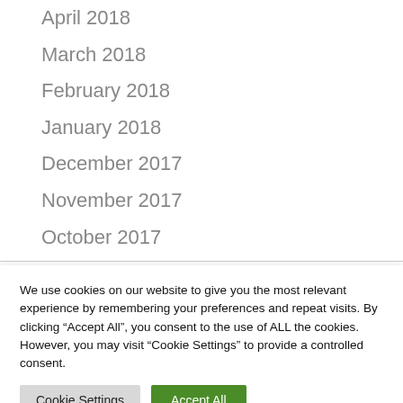April 2018
March 2018
February 2018
January 2018
December 2017
November 2017
October 2017
September 2017
We use cookies on our website to give you the most relevant experience by remembering your preferences and repeat visits. By clicking “Accept All”, you consent to the use of ALL the cookies. However, you may visit "Cookie Settings" to provide a controlled consent.
Cookie Settings | Accept All